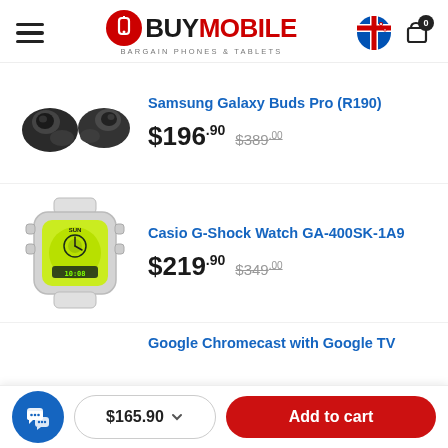BuyMobile — BARGAIN PHONES & TABLETS
Samsung Galaxy Buds Pro (R190)
[Figure (photo): Samsung Galaxy Buds Pro earbuds in Phantom Black, two earbuds shown side by side]
$196.90  $389.00 (strikethrough)
Casio G-Shock Watch GA-400SK-1A9
[Figure (photo): Casio G-Shock Watch GA-400SK-1A9 with clear/transparent skeleton body and yellow/green face]
$219.90  $349.00 (strikethrough)
Google Chromecast with Google TV
$165.90  Add to cart